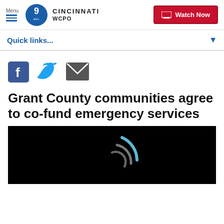Menu | WCPO 9 ABC CINCINNATI | Watch Now
Quick links...
[Figure (infographic): Social share icons: Facebook, Twitter, Email]
Grant County communities agree to co-fund emergency services
[Figure (screenshot): Video player thumbnail with loading spinner on black background]